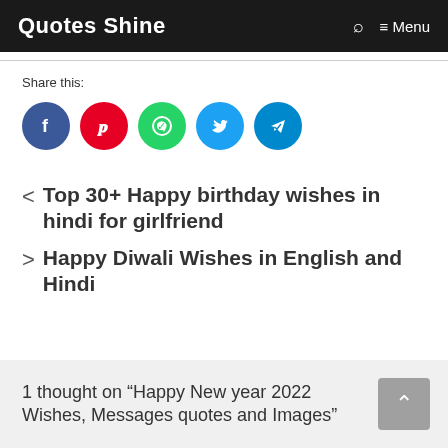Quotes Shine  Menu
Share this:
[Figure (infographic): Five social media share buttons: Facebook (blue circle), Pinterest (red circle), WhatsApp (green circle), Twitter (blue circle), Telegram (blue circle)]
< Top 30+ Happy birthday wishes in hindi for girlfriend
> Happy Diwali Wishes in English and Hindi
1 thought on “Happy New year 2022 Wishes, Messages quotes and Images”